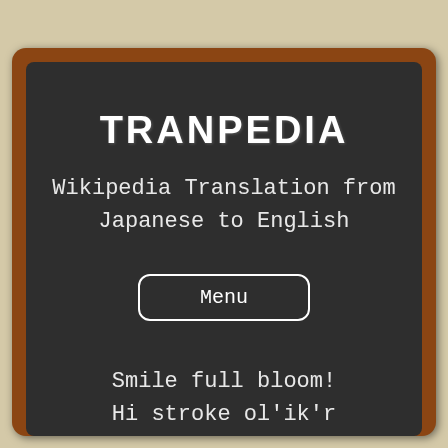TRANPEDIA
Wikipedia Translation from Japanese to English
Menu
Smile full bloom!
Hi stroke ol'ik'r